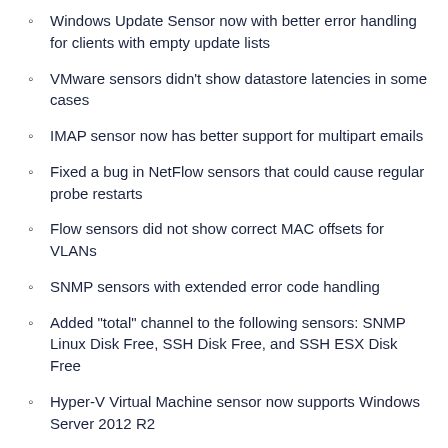Windows Update Sensor now with better error handling for clients with empty update lists
VMware sensors didn't show datastore latencies in some cases
IMAP sensor now has better support for multipart emails
Fixed a bug in NetFlow sensors that could cause regular probe restarts
Flow sensors did not show correct MAC offsets for VLANs
SNMP sensors with extended error code handling
Added "total" channel to the following sensors: SNMP Linux Disk Free, SSH Disk Free, and SSH ESX Disk Free
Hyper-V Virtual Machine sensor now supports Windows Server 2012 R2